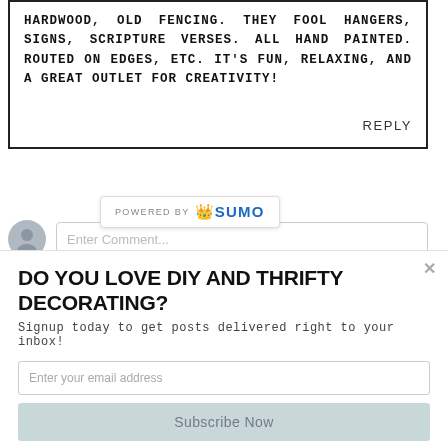HARDWOOD, OLD FENCING. THEY FOOL HANGERS, SIGNS, SCRIPTURE VERSES. ALL HAND PAINTED. ROUTED ON EDGES, ETC. IT'S FUN, RELAXING, AND A GREAT OUTLET FOR CREATIVITY!
REPLY
[Figure (screenshot): Enter Comment input field with user avatar icon]
[Figure (logo): POWERED BY SUMO logo banner]
DO YOU LOVE DIY AND THRIFTY DECORATING?
Signup today to get posts delivered right to your inbox!
Enter your email address
Subscribe Now